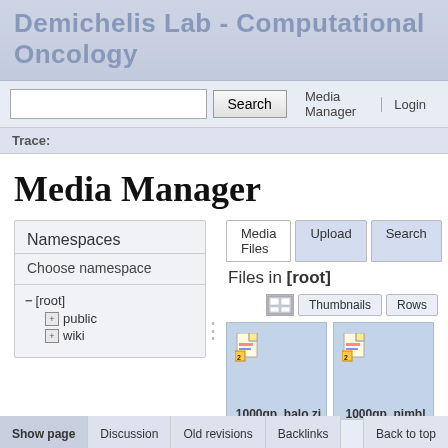Demichelis Lab - Computational Oncology
Search  |  Media Manager  |  Login
Trace:
Media Manager
Namespaces
Choose namespace
- [root]
+ public
+ wiki
Media Files  Upload  Search
Files in [root]
Thumbnails  Rows
[Figure (screenshot): Thumbnail card for file 1000gp_halo.zip with file icon]
1000gp_halo.zip
[Figure (screenshot): Thumbnail card for file 1000gp_nimble... with file icon]
1000gp_nimble...
Show page  Discussion  Old revisions  Backlinks  Back to top  2016/09/22
2016/09/22